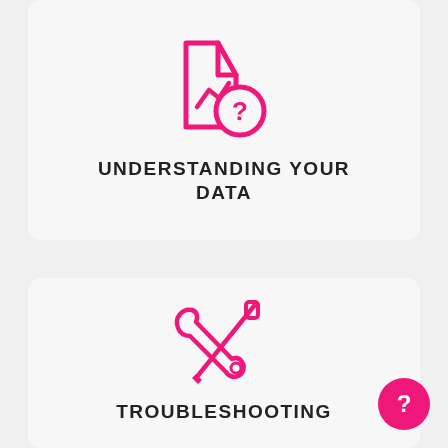[Figure (illustration): Pink line-art icon: a document/file with a chart line and a question mark badge overlay]
UNDERSTANDING YOUR DATA
[Figure (illustration): Pink line-art icon: crossed wrench and screwdriver tools]
TROUBLESHOOTING